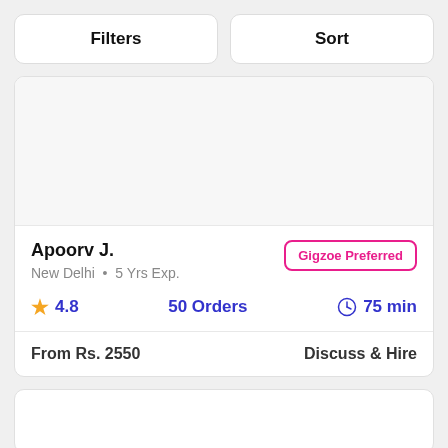Filters
Sort
[Figure (other): Blank image/profile photo area for freelancer card]
Apoorv J.
New Delhi  •  5 Yrs Exp.
Gigzoe Preferred
4.8  50 Orders  75 min
From Rs. 2550
Discuss & Hire
[Figure (other): Partially visible second freelancer card at bottom]